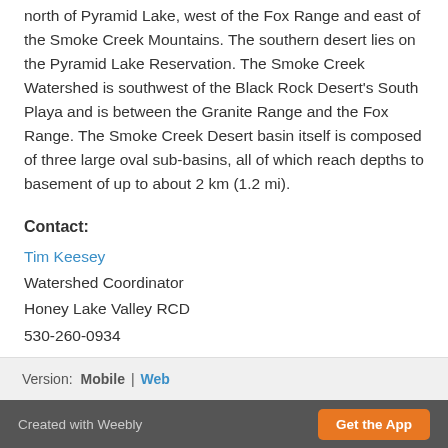north of Pyramid Lake, west of the Fox Range and east of the Smoke Creek Mountains. The southern desert lies on the Pyramid Lake Reservation. The Smoke Creek Watershed is southwest of the Black Rock Desert's South Playa and is between the Granite Range and the Fox Range. The Smoke Creek Desert basin itself is composed of three large oval sub-basins, all of which reach depths to basement of up to about 2 km (1.2 mi).
Contact:
Tim Keesey
Watershed Coordinator
Honey Lake Valley RCD
530-260-0934
Version: Mobile | Web
Created with Weebly   Get the App